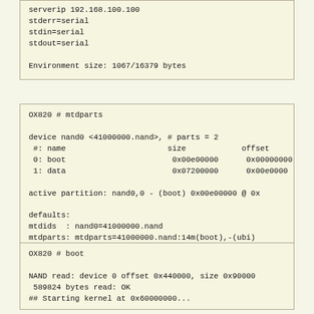serverip 192.168.100.100
stderr=serial
stdin=serial
stdout=serial

Environment size: 1067/16379 bytes
OX820 # mtdparts

device nand0 <41000000.nand>, # parts = 2
 #: name                      size            offset
 0: boot                       0x00e00000      0x00000000
 1: data                       0x07200000      0x00e00000

active partition: nand0,0 - (boot) 0x00e00000 @ 0x

defaults:
mtdids  : nand0=41000000.nand
mtdparts: mtdparts=41000000.nand:14m(boot),-(ubi)
OX820 # boot

NAND read: device 0 offset 0x440000, size 0x90000
 589824 bytes read: OK
## Starting kernel at 0x60000000...